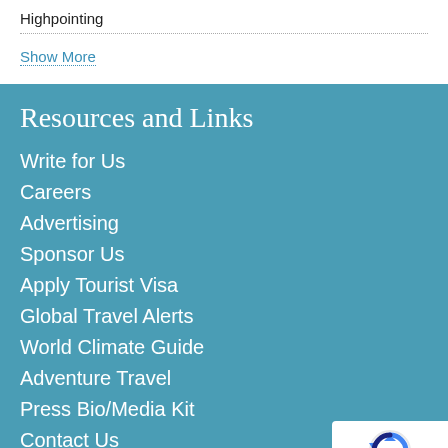Highpointing
Show More
Resources and Links
Write for Us
Careers
Advertising
Sponsor Us
Apply Tourist Visa
Global Travel Alerts
World Climate Guide
Adventure Travel
Press Bio/Media Kit
Contact Us
Useful Travel Resources
[Figure (other): reCAPTCHA badge with logo and Privacy - Terms text]